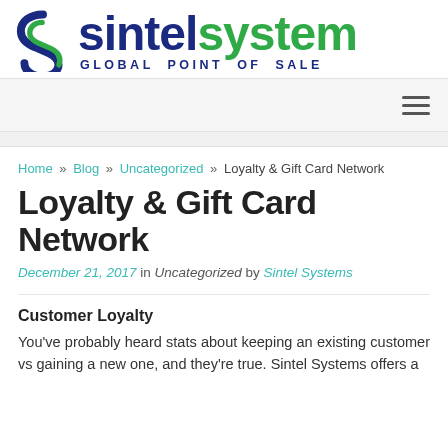[Figure (logo): Sintel Systems logo with blue and green S icon and text 'sintel' in dark blue, 'system' in green, tagline 'GLOBAL POINT OF SALE' in dark blue]
Navigation bar with hamburger menu icon
Home » Blog » Uncategorized » Loyalty & Gift Card Network
Loyalty & Gift Card Network
December 21, 2017  in  Uncategorized  by  Sintel Systems
Customer Loyalty
You've probably heard stats about keeping an existing customer vs gaining a new one, and they're true. Sintel Systems offers a